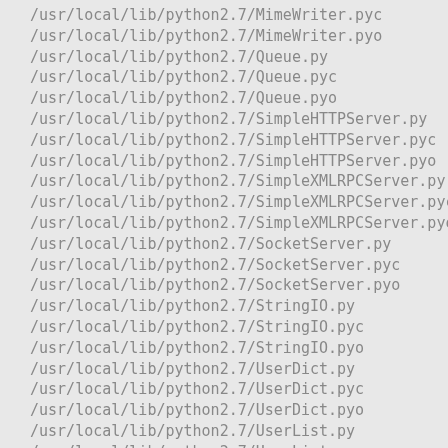/usr/local/lib/python2.7/MimeWriter.pyc
/usr/local/lib/python2.7/MimeWriter.pyo
/usr/local/lib/python2.7/Queue.py
/usr/local/lib/python2.7/Queue.pyc
/usr/local/lib/python2.7/Queue.pyo
/usr/local/lib/python2.7/SimpleHTTPServer.py
/usr/local/lib/python2.7/SimpleHTTPServer.pyc
/usr/local/lib/python2.7/SimpleHTTPServer.pyo
/usr/local/lib/python2.7/SimpleXMLRPCServer.py
/usr/local/lib/python2.7/SimpleXMLRPCServer.pyc
/usr/local/lib/python2.7/SimpleXMLRPCServer.pyo
/usr/local/lib/python2.7/SocketServer.py
/usr/local/lib/python2.7/SocketServer.pyc
/usr/local/lib/python2.7/SocketServer.pyo
/usr/local/lib/python2.7/StringIO.py
/usr/local/lib/python2.7/StringIO.pyc
/usr/local/lib/python2.7/StringIO.pyo
/usr/local/lib/python2.7/UserDict.py
/usr/local/lib/python2.7/UserDict.pyc
/usr/local/lib/python2.7/UserDict.pyo
/usr/local/lib/python2.7/UserList.py
/usr/local/lib/python2.7/UserList.pyc